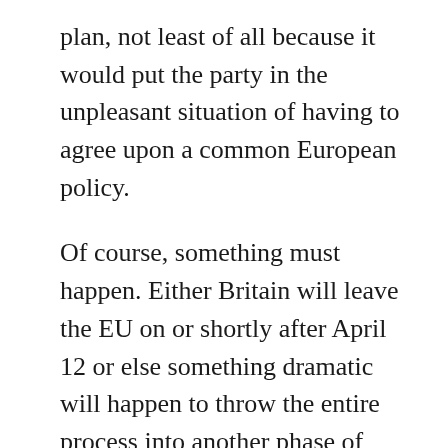plan, not least of all because it would put the party in the unpleasant situation of having to agree upon a common European policy.
Of course, something must happen. Either Britain will leave the EU on or shortly after April 12 or else something dramatic will happen to throw the entire process into another phase of disarray and uncertainty. It is just desperately unclear what that “something” will be. Nobody—not even the prime minister—can know what will unfold over the coming days and weeks.
Perhaps the best that the country can hope for is that May and Corbyn can strike a bipartisan